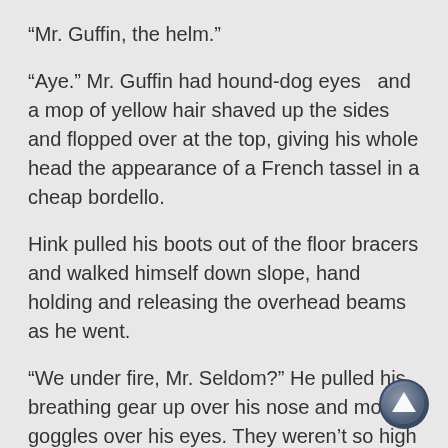“Mr. Guffin, the helm.”
“Aye.” Mr. Guffin had hound-dog eyes  and a mop of yellow hair shaved up the sides and flopped over at the top, giving his whole head the appearance of a French tassel in a cheap bordello.
Hink pulled his boots out of the floor bracers and walked himself down slope, hand holding and releasing the overhead beams as he went.
“We under fire, Mr. Seldom?” He pulled his breathing gear up over his nose and mouth, goggles over his eyes. They weren’t so high up he’d run out of air to breathe, but it was damn cold over the range, and the force of wind could unlung a man.
Seldom, as was his way, didn’t say anything, just lifted his
[Figure (other): Navigation up arrow button, circular with metallic/3D appearance]